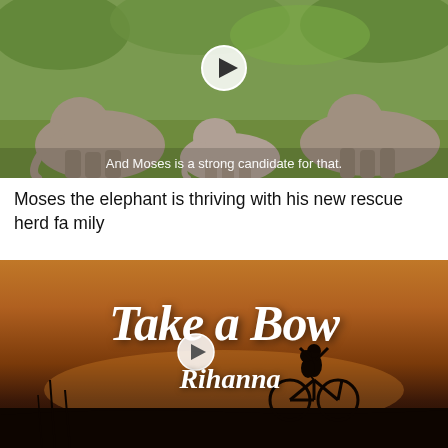[Figure (photo): Video thumbnail showing elephants walking in a green leafy environment with a subtitle overlay reading 'And Moses is a strong candidate for that.' and a play button icon in the center.]
Moses the elephant is thriving with his new rescue herd family
[Figure (photo): Video thumbnail for 'Take a Bow' by Rihanna, showing a warm orange sunset background with silhouette of a couple on a bicycle, with the song title in large white italic script and a play button icon.]